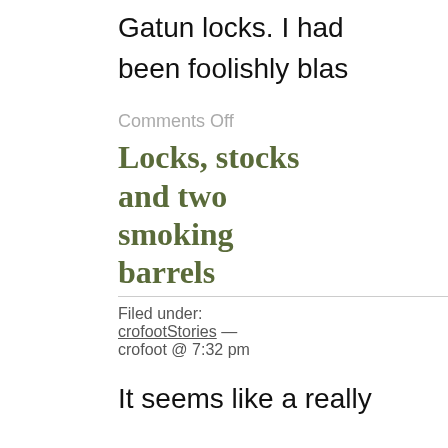Gatun locks.  I had been foolishly blas
Comments Off
Locks, stocks and two smoking barrels
Filed under: crofootStories — crofoot @ 7:32 pm
It seems like a really long time since I've posted anything here, and there are so many cool things I've done in the last